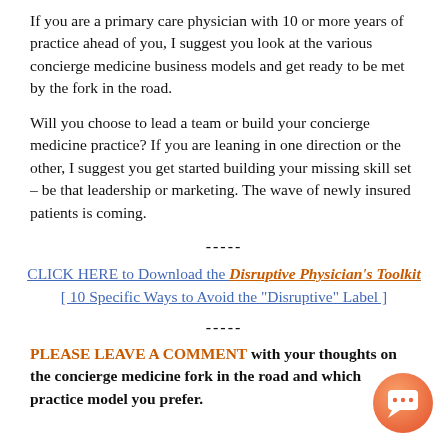If you are a primary care physician with 10 or more years of practice ahead of you, I suggest you look at the various concierge medicine business models and get ready to be met by the fork in the road.
Will you choose to lead a team or build your concierge medicine practice? If you are leaning in one direction or the other, I suggest you get started building your missing skill set – be that leadership or marketing. The wave of newly insured patients is coming.
-----
CLICK HERE to Download the Disruptive Physician's Toolkit [ 10 Specific Ways to Avoid the "Disruptive" Label ]
-----
PLEASE LEAVE A COMMENT with your thoughts on the concierge medicine fork in the road and which practice model you prefer.
[Figure (illustration): Orange gradient circular chat button icon in the bottom-right corner]